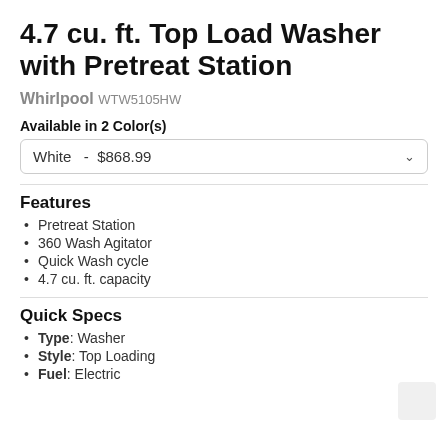4.7 cu. ft. Top Load Washer with Pretreat Station
Whirlpool WTW5105HW
Available in 2 Color(s)
White  -  $868.99
Features
Pretreat Station
360 Wash Agitator
Quick Wash cycle
4.7 cu. ft. capacity
Quick Specs
Type: Washer
Style: Top Loading
Fuel: Electric